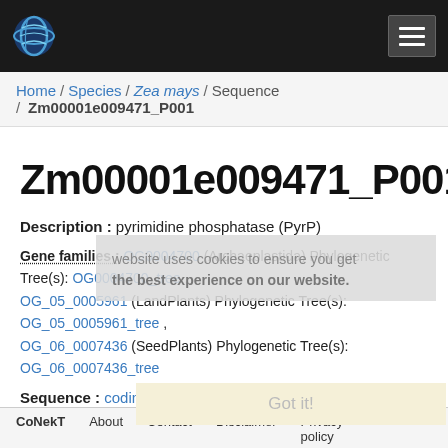[Figure (logo): CoNekT website logo — blue globe icon on dark nav bar with hamburger menu]
Home / Species / Zea mays / Sequence / Zm00001e009471_P001
Zm00001e009471_P001
Description : pyrimidine phosphatase (PyrP)
Gene families : OG0004700 (Archaeplastida) Phylogenetic Tree(s): OG0004700_tree , OG_05_0005961 (LandPlants) Phylogenetic Tree(s): OG_05_0005961_tree , OG_06_0007436 (SeedPlants) Phylogenetic Tree(s): OG_06_0007436_tree
Sequence : coding (download), protein (download)
CoNekT   About   Contact   Disclaimer   Privacy policy